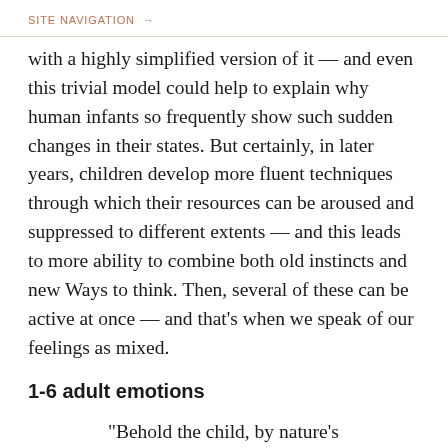SITE NAVIGATION →
with a highly simplified version of it — and even this trivial model could help to explain why human infants so frequently show such sudden changes in their states. But certainly, in later years, children develop more fluent techniques through which their resources can be aroused and suppressed to different extents — and this leads to more ability to combine both old instincts and new Ways to think. Then, several of these can be active at once — and that's when we speak of our feelings as mixed.
1-6 adult emotions
“Behold the child, by nature’s kindly law,